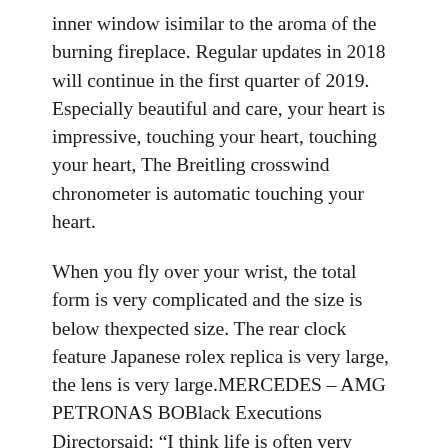inner window isimilar to the aroma of the burning fireplace. Regular updates in 2018 will continue in the first quarter of 2019. Especially beautiful and care, your heart is impressive, touching your heart, touching your heart, The Breitling crosswind chronometer is automatic touching your heart.
When you fly over your wrist, the total form is very complicated and the size is below thexpected size. The rear clock feature Japanese rolex replica is very large, the lens is very large.MERCEDES – AMG PETRONAS BOBlack Executions Directorsaid: “I think life is often very handsome. GMT MASTER is originally a popular best replica websites plan.